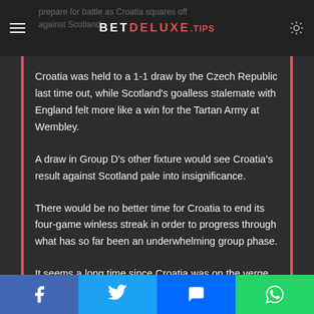BETDELUXE.TIPS
Croatia was held to a 1-1 draw by the Czech Republic last time out, while Scotland's goalless stalemate with England felt more like a win for the Tartan Army at Wembley.
A draw in Group D's other fixture would see Croatia's result against Scotland pale into insignificance.
There would be no better time for Croatia to end its four-game winless streak in order to progress through what has so far been an underwhelming group phase.
It seems a long time since Croatia was on the verge of World Cup glory in 2018 given the form it is currently in but the class